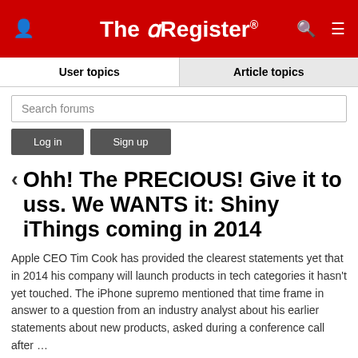The Register
User topics | Article topics
Search forums
Log in  Sign up
Ohh! The PRECIOUS! Give it to uss. We WANTS it: Shiny iThings coming in 2014
Apple CEO Tim Cook has provided the clearest statements yet that in 2014 his company will launch products in tech categories it hasn't yet touched. The iPhone supremo mentioned that time frame in answer to a question from an industry analyst about his earlier statements about new products, asked during a conference call after …
COMMENTS
House rules | Send corrections